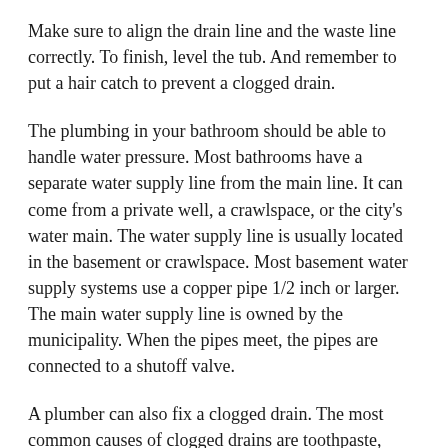Make sure to align the drain line and the waste line correctly. To finish, level the tub. And remember to put a hair catch to prevent a clogged drain.
The plumbing in your bathroom should be able to handle water pressure. Most bathrooms have a separate water supply line from the main line. It can come from a private well, a crawlspace, or the city's water main. The water supply line is usually located in the basement or crawlspace. Most basement water supply systems use a copper pipe 1/2 inch or larger. The main water supply line is owned by the municipality. When the pipes meet, the pipes are connected to a shutoff valve.
A plumber can also fix a clogged drain. The most common causes of clogged drains are toothpaste, soap, and hair. A plumber will clean all debris and restore the flow of water. If the drain is blocked, a skilled technician can repair or replace the sink. In addition, he can unclog the drain so that it can be used again. These tips are important for maintaining the